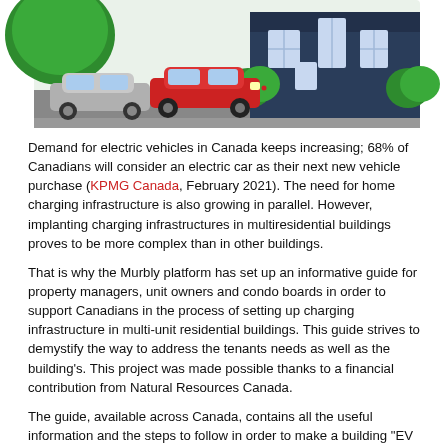[Figure (illustration): Illustration of electric vehicles (grey and red cars) parked in front of a house with green trees and bushes, on a grey road background.]
Demand for electric vehicles in Canada keeps increasing; 68% of Canadians will consider an electric car as their next new vehicle purchase (KPMG Canada, February 2021). The need for home charging infrastructure is also growing in parallel. However, implanting charging infrastructures in multiresidential buildings proves to be more complex than in other buildings.
That is why the Murbly platform has set up an informative guide for property managers, unit owners and condo boards in order to support Canadians in the process of setting up charging infrastructure in multi-unit residential buildings. This guide strives to demystify the way to address the tenants needs as well as the building's. This project was made possible thanks to a financial contribution from Natural Resources Canada.
The guide, available across Canada, contains all the useful information and the steps to follow in order to make a building "EV Ready" depending on the region concerned. Adding charging equipment in multi-unit dwellings doesn't only affect EV owners :
"In recent years, we have noticed more and more concerns from multi-unit residential buildings' (MURBs) residents regarding the charging